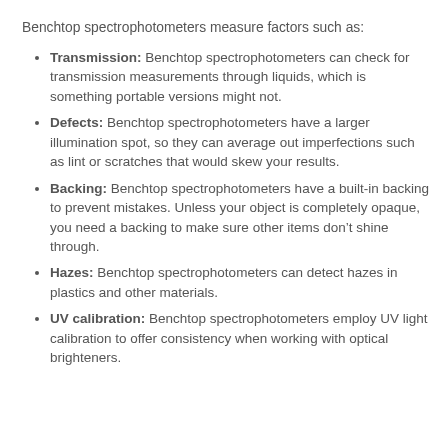Benchtop spectrophotometers measure factors such as:
Transmission: Benchtop spectrophotometers can check for transmission measurements through liquids, which is something portable versions might not.
Defects: Benchtop spectrophotometers have a larger illumination spot, so they can average out imperfections such as lint or scratches that would skew your results.
Backing: Benchtop spectrophotometers have a built-in backing to prevent mistakes. Unless your object is completely opaque, you need a backing to make sure other items don’t shine through.
Hazes: Benchtop spectrophotometers can detect hazes in plastics and other materials.
UV calibration: Benchtop spectrophotometers employ UV light calibration to offer consistency when working with optical brighteners.